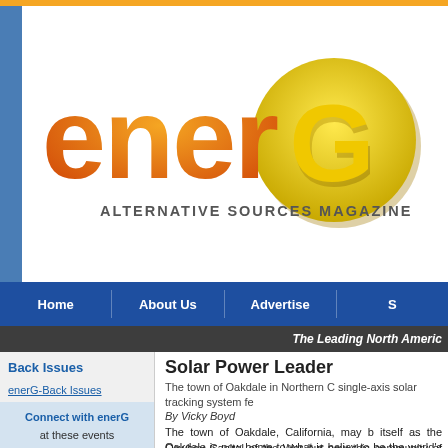[Figure (logo): enerG Alternative Sources Magazine logo — 'ener' in orange gradient, 'G' in yellow on a circular gold badge, subtitle 'ALTERNATIVE SOURCES MAGAZINE' in dark gray caps below]
Home | About Us | Advertise | S
The Leading North Americ
Back Issues
enerG-Back Issues
Connect with enerG at these events
[Figure (infographic): Event promo box: Aug. 23 - 25, 2022 In MIAMI | 4th Edition with circular 'the' graphic]
Solar Power Leader
The town of Oakdale in Northern C single-axis solar tracking system fe
By Vicky Boyd
The town of Oakdale, California, may b itself as the Cowboy Capital of the Wor but now this community of about 20,0 between San Francisco and Yosem National Park can put another notch in belt.
Oakdale is now home to what is believ to be the world's first single-axis so tracking system featuring thin-fi